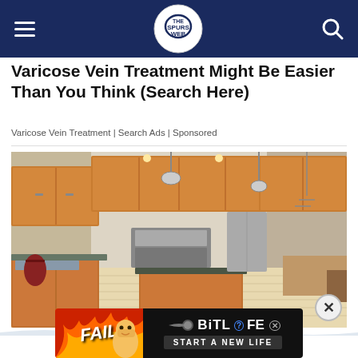The Spurs Web — navigation header with hamburger menu, logo, and search icon
Varicose Vein Treatment Might Be Easier Than You Think (Search Here)
Varicose Vein Treatment | Search Ads | Sponsored
[Figure (photo): Interior photo of a large kitchen with wooden cabinets, granite island countertop, stainless steel appliances, pendant lights, and light hardwood floors. A dining area is visible in the background.]
[Figure (other): BitLife mobile game advertisement banner with 'FAIL' text on fire-themed background, a cartoon character, BitLife logo text, and 'START A NEW LIFE' call to action on dark background. Small X close button in top right.]